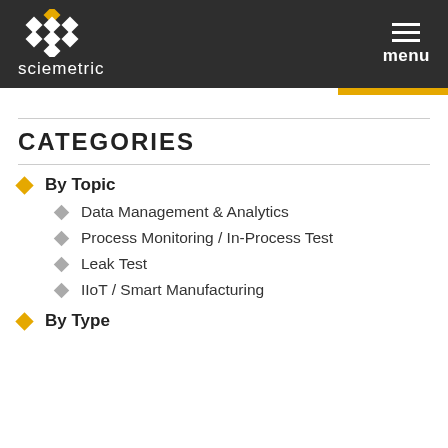sciemetric — menu
CATEGORIES
By Topic
Data Management & Analytics
Process Monitoring / In-Process Test
Leak Test
IIoT / Smart Manufacturing
By Type